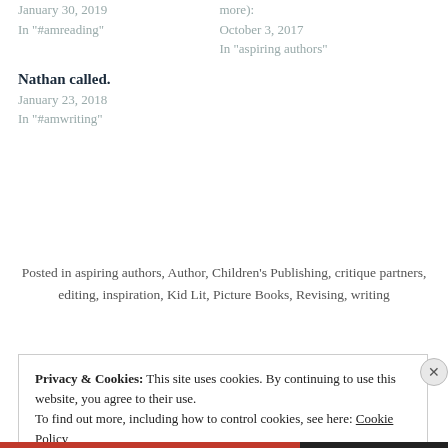January 30, 2019
In "#amreading"
more):
October 3, 2017
In "aspiring authors"
Nathan called.
January 23, 2018
In "#amwriting"
Posted in aspiring authors, Author, Children's Publishing, critique partners, editing, inspiration, Kid Lit, Picture Books, Revising, writing
Privacy & Cookies: This site uses cookies. By continuing to use this website, you agree to their use.
To find out more, including how to control cookies, see here: Cookie Policy
Close and accept